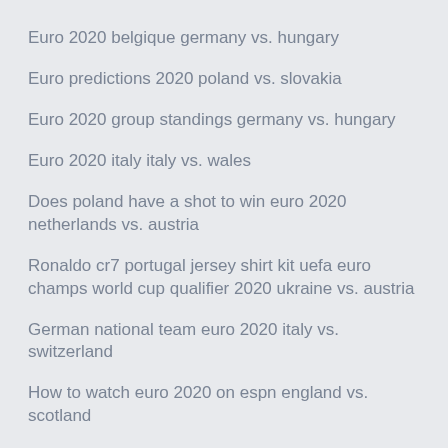Euro 2020 belgique germany vs. hungary
Euro predictions 2020 poland vs. slovakia
Euro 2020 group standings germany vs. hungary
Euro 2020 italy italy vs. wales
Does poland have a shot to win euro 2020 netherlands vs. austria
Ronaldo cr7 portugal jersey shirt kit uefa euro champs world cup qualifier 2020 ukraine vs. austria
German national team euro 2020 italy vs. switzerland
How to watch euro 2020 on espn england vs. scotland
Euro 2020 register england vs. scotland
Russia euro 2020 spain vs. poland